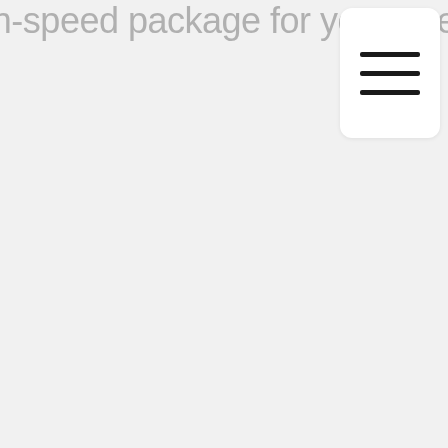high-speed package for your needs.
[Figure (other): Hamburger menu button icon with three horizontal lines on a white rounded rectangle card]